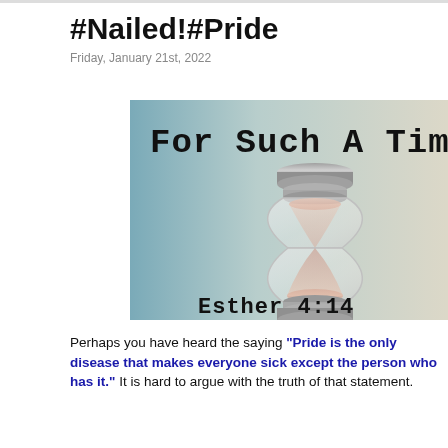#Nailed!#Pride
Friday, January 21st, 2022
[Figure (illustration): An illustration with a gradient blue-green to beige background. Large curved text at the top reads 'For Such A Tim' (continuing off-frame). In the center is a realistic 3D hourglass with silver/grey metal ends and pink-white sand. Below the hourglass text reads 'Esther 4:14' in a typewriter-style font.]
Perhaps you have heard the saying "Pride is the only disease that makes everyone sick except the person who has it." It is hard to argue with the truth of that statement.